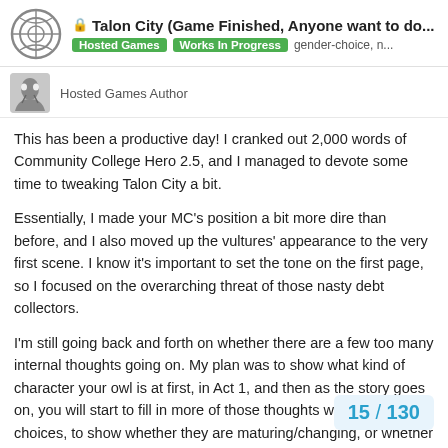🔒 Talon City (Game Finished, Anyone want to do... | Hosted Games | Works In Progress | gender-choice, n...
Hosted Games Author
This has been a productive day! I cranked out 2,000 words of Community College Hero 2.5, and I managed to devote some time to tweaking Talon City a bit.
Essentially, I made your MC's position a bit more dire than before, and I also moved up the vultures' appearance to the very first scene. I know it's important to set the tone on the first page, so I focused on the overarching threat of those nasty debt collectors.
I'm still going back and forth on whether there are a few too many internal thoughts going on. My plan was to show what kind of character your owl is at first, in Act 1, and then as the story goes on, you will start to fill in more of those thoughts with your choices, to show whether they are maturing/changing, or whether they remain the same cynical, elitist character throughout the story. It's something I'll con
15 / 130